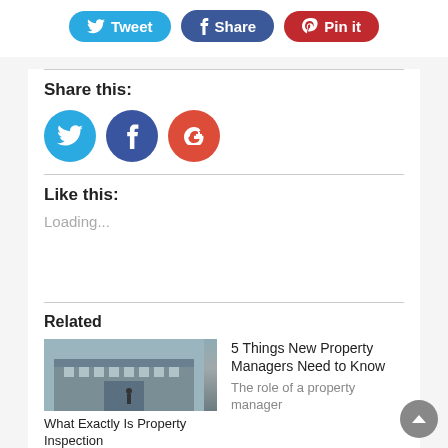[Figure (infographic): Social share buttons bar at top: Tweet (blue), Share (dark blue), Pin it (red)]
Share this:
[Figure (infographic): Three circular social media icons: Twitter (light blue), Facebook (dark blue), Google+ (red)]
Like this:
Loading...
Related
[Figure (photo): Photo of a commercial building exterior with a person standing in front]
What Exactly Is Property Inspection
5 Things New Property Managers Need to Know
The role of a property manager is critical to